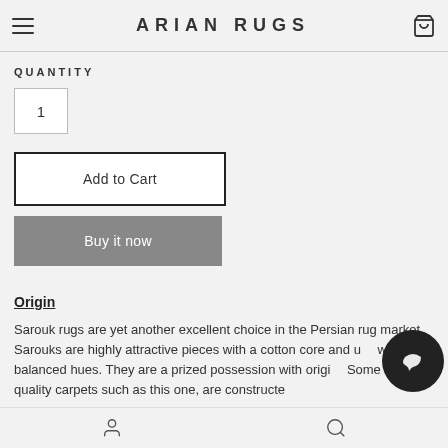ARIAN RUGS
QUANTITY
1
Add to Cart
Buy it now
Origin
Sarouk rugs are yet another excellent choice in the Persian rug market. Sarouks are highly attractive pieces with a cotton core and well-balanced hues. They are a prized possession with origin. Some high quality carpets such as this one, are constructe...